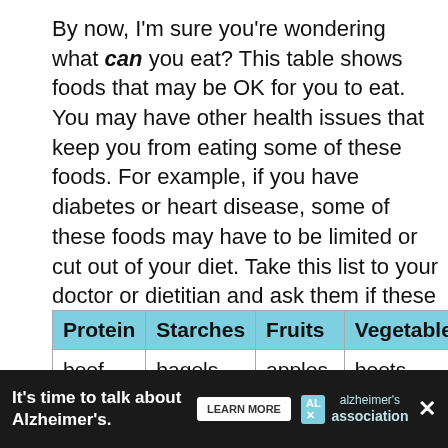By now, I'm sure you're wondering what can you eat? This table shows foods that may be OK for you to eat. You may have other health issues that keep you from eating some of these foods. For example, if you have diabetes or heart disease, some of these foods may have to be limited or cut out of your diet. Take this list to your doctor or dietitian and ask them if these foods are OK for you.
| Protein | Starches | Fruits | Vegetables |
| --- | --- | --- | --- |
| beef | bagels, muffins, | apples, | beets |
[Figure (other): Advertisement banner: 'It's time to talk about Alzheimer's.' with a Learn More button and the Alzheimer's Association logo.]